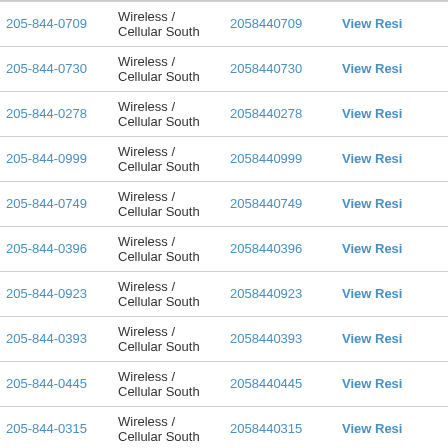| Phone | Carrier | Number | Action |
| --- | --- | --- | --- |
| 205-844-0709 | Wireless / Cellular South | 2058440709 | View Res… |
| 205-844-0730 | Wireless / Cellular South | 2058440730 | View Res… |
| 205-844-0278 | Wireless / Cellular South | 2058440278 | View Res… |
| 205-844-0999 | Wireless / Cellular South | 2058440999 | View Res… |
| 205-844-0749 | Wireless / Cellular South | 2058440749 | View Res… |
| 205-844-0396 | Wireless / Cellular South | 2058440396 | View Res… |
| 205-844-0923 | Wireless / Cellular South | 2058440923 | View Res… |
| 205-844-0393 | Wireless / Cellular South | 2058440393 | View Res… |
| 205-844-0445 | Wireless / Cellular South | 2058440445 | View Res… |
| 205-844-0315 | Wireless / Cellular South | 2058440315 | View Res… |
| 205-844-0800 | Wireless / Cellular South | 2058440800 | View Res… |
| 205-844-0722 | Wireless / Cellular South | 2058440722 | View Res… |
| 205-844-0060 | Wireless / Cellular South | 2058440060 | View Res… |
| 205-844-0651 | Wireless / Cellular South | 2058440651 | View Res… |
| 205-844-0816 | Wireless / Cellular South | 2058440816 | View Res… |
| 205-844-0566 | Wireless / Cellular South | 2058440566 | …Res… |
| 205-844-0620 | Wireless / Cellular South | 2058440620 | View Res… |
| 205-844-0289 | Wireless / Cellular South | 2058440289 | View Res… |